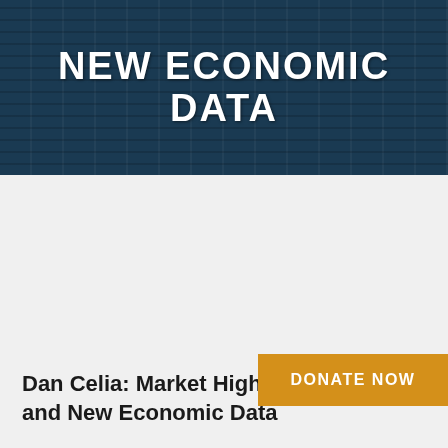NEW ECONOMIC DATA
Dan Celia: Market Highs, Oil Prices, and New Economic Data
PHILADELPHIA—Nationally syndicated host and biblical investing authority Dan Celia discussed the record highs in the market, the current oil market, and the economic data coming out at the beginning of the week.
"As we look forward to another week in the